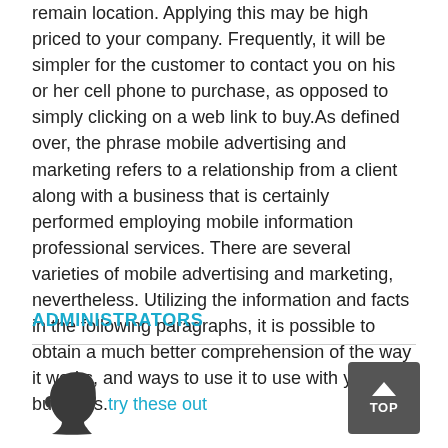remain location. Applying this may be high priced to your company. Frequently, it will be simpler for the customer to contact you on his or her cell phone to purchase, as opposed to simply clicking on a web link to buy.As defined over, the phrase mobile advertising and marketing refers to a relationship from a client along with a business that is certainly performed employing mobile information professional services. There are several varieties of mobile advertising and marketing, nevertheless. Utilizing the information and facts in the following paragraphs, it is possible to obtain a much better comprehension of the way it works, and ways to use it to use with your business.try these out
ADMINISTRATORS
[Figure (illustration): Silhouette of a human head (profile facing right), dark/charcoal color, representing an administrator avatar.]